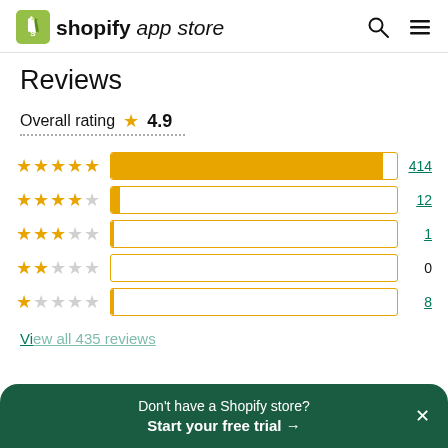shopify app store
Reviews
Overall rating ★ 4.9
[Figure (bar-chart): Rating distribution]
View all 435 reviews
Don't have a Shopify store? Start your free trial →